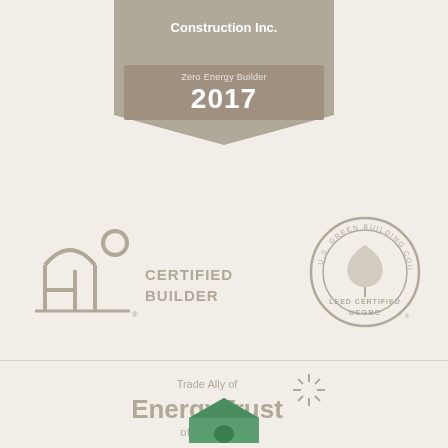[Figure (logo): Zero Energy Builder 2017 banner/ribbon badge with company name 'Construction Inc.']
[Figure (logo): PH Certified Builder logo with house/arch icon]
[Figure (logo): U.S. Green Building Council LEED Certified USGBC circular seal]
[Figure (logo): Trade Ally of EnergyTrust of Oregon logo with starburst icon]
[Figure (logo): Green house icon at bottom of page]